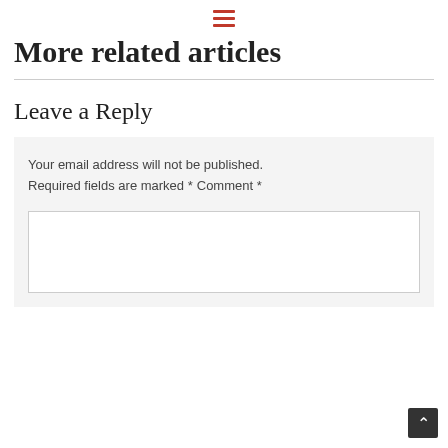☰
More related articles
Leave a Reply
Your email address will not be published.
Required fields are marked *
Comment *